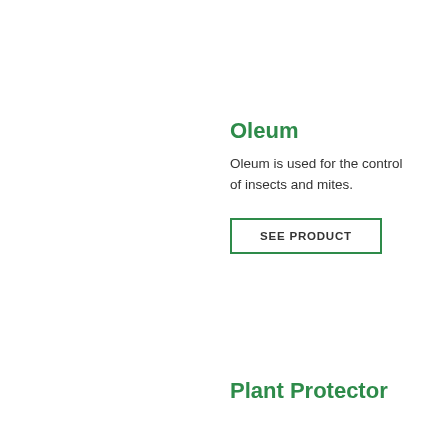Oleum
Oleum is used for the control of insects and mites.
SEE PRODUCT
Plant Protector